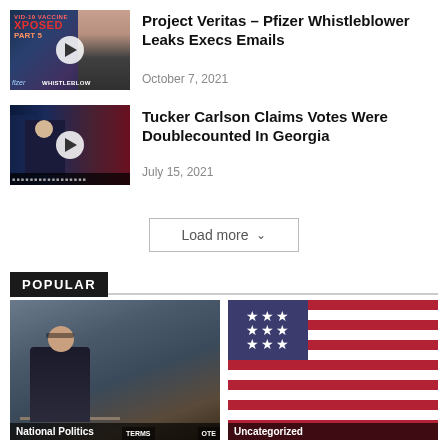[Figure (photo): Video thumbnail for Project Veritas Pfizer whistleblower video showing text EXPOSED PART 5 and a woman]
Project Veritas – Pfizer Whistleblower Leaks Execs Emails
October 7, 2021
[Figure (photo): Video thumbnail showing Tucker Carlson at news desk with Capitol building in background]
Tucker Carlson Claims Votes Were Doublecounted In Georgia
July 15, 2021
Load more
POPULAR
[Figure (photo): Photo of man in suit at meeting table, labeled National Politics]
[Figure (photo): Photo of American flag, labeled Uncategorized]